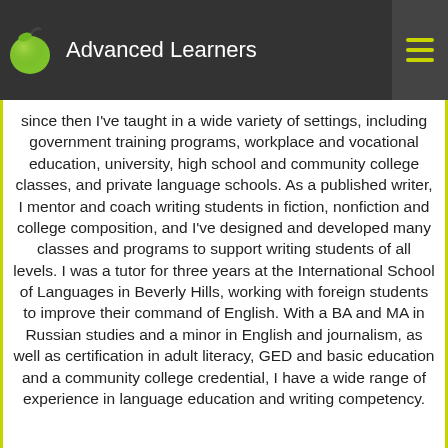Advanced Learners
since then I've taught in a wide variety of settings, including government training programs, workplace and vocational education, university, high school and community college classes, and private language schools. As a published writer, I mentor and coach writing students in fiction, nonfiction and college composition, and I've designed and developed many classes and programs to support writing students of all levels. I was a tutor for three years at the International School of Languages in Beverly Hills, working with foreign students to improve their command of English. With a BA and MA in Russian studies and a minor in English and journalism, as well as certification in adult literacy, GED and basic education and a community college credential, I have a wide range of experience in language education and writing competency.